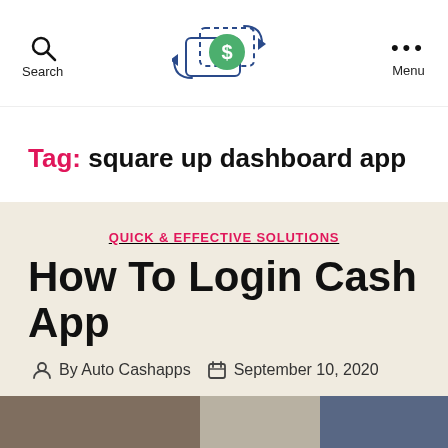Search | [Logo] | Menu
Tag: square up dashboard app
QUICK & EFFECTIVE SOLUTIONS
How To Login Cash App
By Auto Cashapps   September 10, 2020
[Figure (photo): Partial image strip at the bottom of the page showing hands and a person]